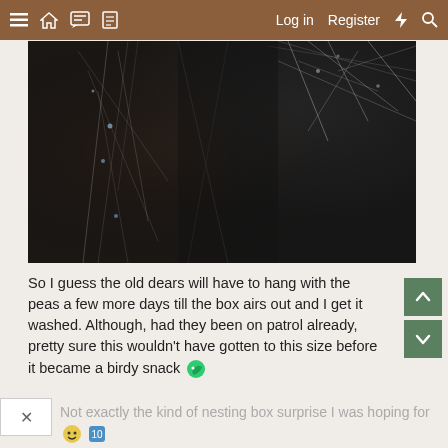≡ 🏠 💬 📋   Log in  Register  ⚡  🔍
[Figure (photo): Close-up photo of a dark surface covered in spider webs, with scattered small light-colored spots visible]
So I guess the old dears will have to hang with the peas a few more days till the box airs out and I get it washed. Although, had they been on patrol already, pretty sure this wouldn't have gotten to this size before it became a birdy snack 🐦
Not exactly the kind of nesting box surprise I was hoping for 🦜🥚